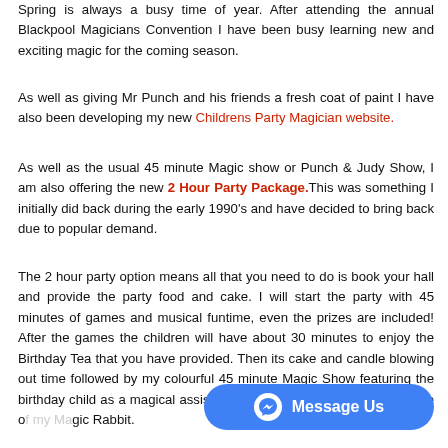Spring is always a busy time of year. After attending the annual Blackpool Magicians Convention I have been busy learning new and exciting magic for the coming season.
As well as giving Mr Punch and his friends a fresh coat of paint I have also been developing my new Childrens Party Magician website.
As well as the usual 45 minute Magic show or Punch & Judy Show, I am also offering the new 2 Hour Party Package. This was something I initially did back during the early 1990's and have decided to bring back due to popular demand.
The 2 hour party option means all that you need to do is book your hall and provide the party food and cake. I will start the party with 45 minutes of games and musical funtime, even the prizes are included! After the games the children will have about 30 minutes to enjoy the Birthday Tea that you have provided. Then its cake and candle blowing out time followed by my colourful 45 minute Magic Show featuring the birthday child as a magical assistant and finishing with the appearance of my Magic Rabbit.
[Figure (other): Blue Facebook Messenger 'Message Us' button in bottom right corner]